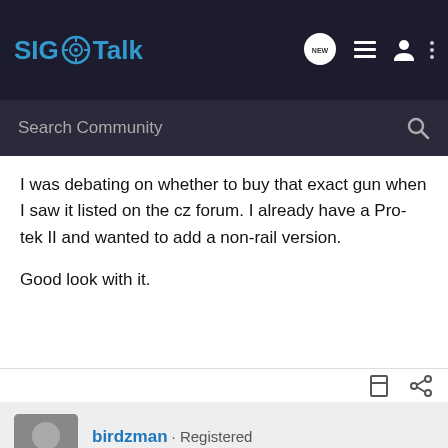SIG Talk
I was debating on whether to buy that exact gun when I saw it listed on the cz forum. I already have a Pro-tek II and wanted to add a non-rail version.

Good look with it.
birdzman · Registered
Joined Jun 9, 2012 · 555 Posts
Discussion Starter · #10 · Mar 31, 2017
[Figure (screenshot): Advertisement banner: SEEKING LONG RANGE RELATIONSHIP KEL TEC THE CP33 PISTOL with image of handgun]
gorb